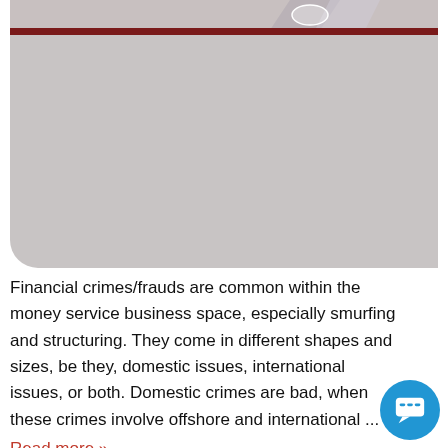[Figure (photo): A card-shaped image area with a dark red horizontal bar near the top, and a large grey rounded rectangle below it. The top strip shows a partial illustration with grey/purple geometric shapes.]
Financial crimes/frauds are common within the money service business space, especially smurfing and structuring. They come in different shapes and sizes, be they, domestic issues, international issues, or both. Domestic crimes are bad, when these crimes involve offshore and international ...
Read more »